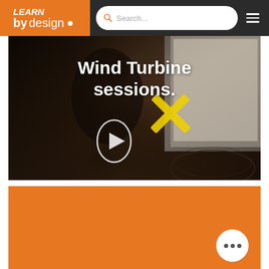Learn by Design — Search navigation header
[Figure (photo): Hero image showing students and instructor working with what appears to be a wind turbine demonstration apparatus. Text overlay reads 'Wind Turbine sessions.' with a play button icon. Background shows a classroom/workshop setting with a display screen.]
Wind Turbine sessions.
[Figure (photo): Orange background section below the hero image, representing a content area of the Learn by Design website. Contains a circular 'more options' button (three dots) in the bottom right corner.]